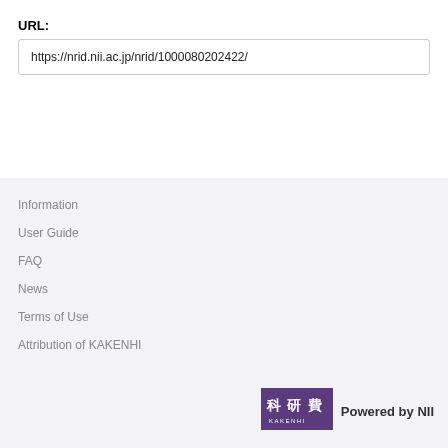URL:
https://nrid.nii.ac.jp/nrid/1000080202422/
Information
User Guide
FAQ
News
Terms of Use
Attribution of KAKENHI
[Figure (logo): KAKENHI logo — purple rectangle with Japanese characters 科研費 and KAKENHI text below]
Powered by NII